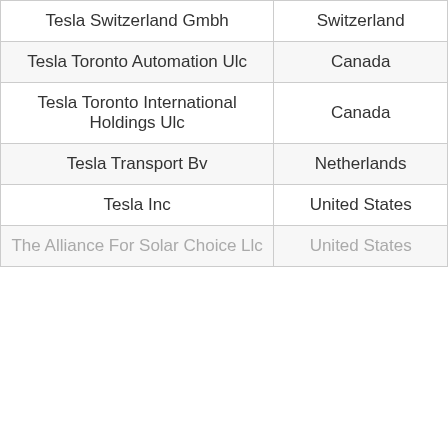| Name | Country |
| --- | --- |
| Tesla Switzerland Gmbh | Switzerland |
| Tesla Toronto Automation Ulc | Canada |
| Tesla Toronto International Holdings Ulc | Canada |
| Tesla Transport Bv | Netherlands |
| Tesla Inc | United States |
| The Alliance For Solar Choice Llc | United States |
We use cookies to ensure that we give you the best experience on our website. GreyB commits to strong, secure and transparent privacy practices, because your privacy is important to us. If you continue using our website, we'll assume that you are happy to recieve all cookies on this website.
If you decline, your information won't be tracked when you visit this website. A single cookie will be used in your browser to remember your preference not to be tracked.